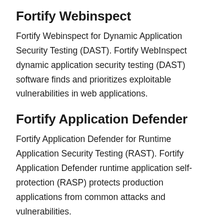Fortify Webinspect
Fortify Webinspect for Dynamic Application Security Testing (DAST). Fortify WebInspect dynamic application security testing (DAST) software finds and prioritizes exploitable vulnerabilities in web applications.
Fortify Application Defender
Fortify Application Defender for Runtime Application Security Testing (RAST). Fortify Application Defender runtime application self-protection (RASP) protects production applications from common attacks and vulnerabilities.
AppScan on Cloud